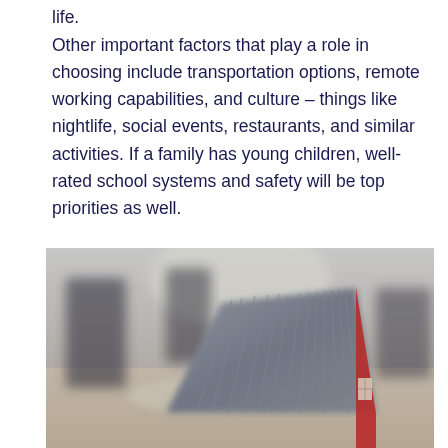life.
Other important factors that play a role in choosing include transportation options, remote working capabilities, and culture – things like nightlife, social events, restaurants, and similar activities. If a family has young children, well-rated school systems and safety will be top priorities as well.
[Figure (photo): A blurred photo of a miniature red house model with a grey ridged roof sitting on a wooden surface, with blurred dark shapes in the background.]